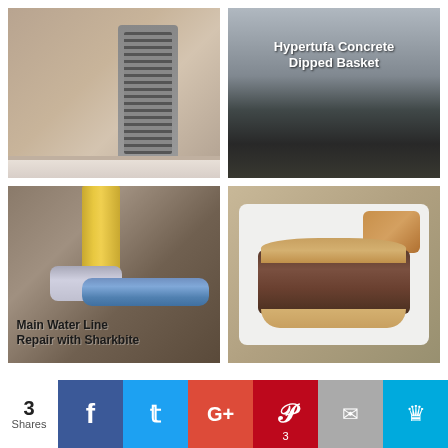[Figure (photo): Tower fan against a wall with baseboard]
[Figure (photo): Hypertufa Concrete Dipped Basket - dark concrete textured object]
[Figure (photo): Main Water Line Repair with Sharkbite - plumbing pipes with blue PVC and metal fitting]
[Figure (photo): Food photo: French dip sandwich with pulled meat on bun, tater tots on white plate]
RECENTLY PUBLISHED
[Figure (infographic): Social share bar with 3 Shares: Facebook, Twitter, Google+, Pinterest (3), Email, Crown/Sumo buttons]